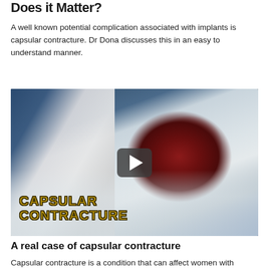Does it Matter?
A well known potential complication associated with implants is capsular contracture. Dr Dona discusses this in an easy to understand manner.
[Figure (screenshot): Video thumbnail showing a surgical scene with a removed capsular contracture specimen (dark red mass) on a white drape, with gloved hands visible. Overlay text reads 'CAPSULAR CONTRACTURE' in gold/yellow block letters. A play button is shown in the center.]
A real case of capsular contracture
Capsular contracture is a condition that can affect women with